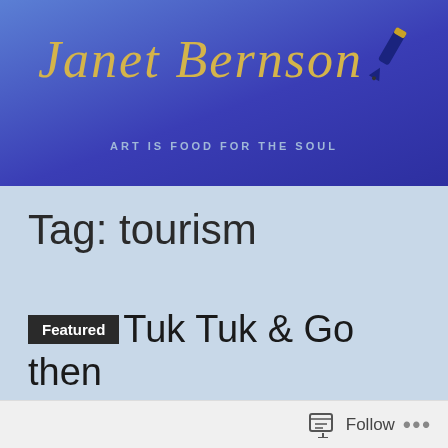[Figure (illustration): Blog header banner with blue/purple gradient background, script text 'Janet Bernson' in gold, a pen emoji icon top right, and tagline 'ART IS FOOD FOR THE SOUL' in small caps below]
Tag: tourism
Featured  Tuk Tuk & Go then Trek Trek – Lisbon
Follow ...